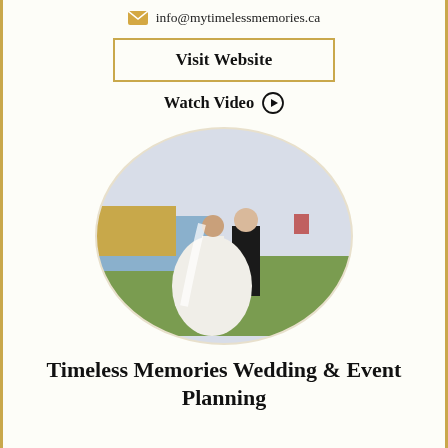info@mytimelessmemories.ca
Visit Website
Watch Video ▶
[Figure (photo): Oval-cropped wedding photo of a bride in white dress and groom in black suit standing in a green field with water and autumn trees in the background]
Timeless Memories Wedding & Event Planning